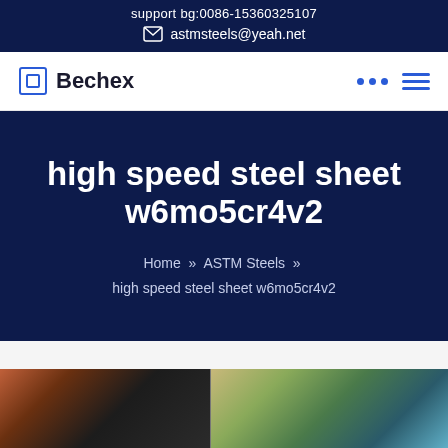support bg:0086-15360325107
astmsteels@yeah.net
Bechex
high speed steel sheet w6mo5cr4v2
Home » ASTM Steels » high speed steel sheet w6mo5cr4v2
[Figure (photo): Photo of steel sheet products and industrial scene]